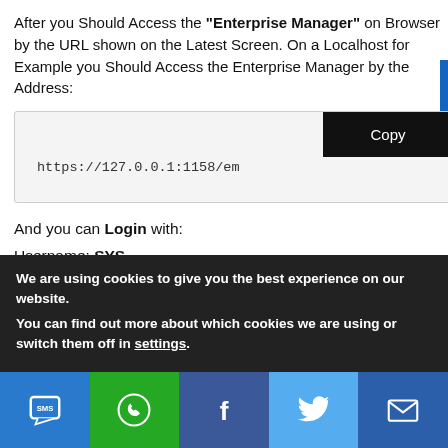After you Should Access the "Enterprise Manager" on Browser by the URL shown on the Latest Screen. On a Localhost for Example you Should Access the Enterprise Manager by the Address:
[Figure (screenshot): Code box with URL https://127.0.0.1:1158/em and a black Copy button]
And you can Login with:
Username: SYS
Password: oracleDatabasePassword
We are using cookies to give you the best experience on our website.
You can find out more about which cookies we are using or switch them off in settings.